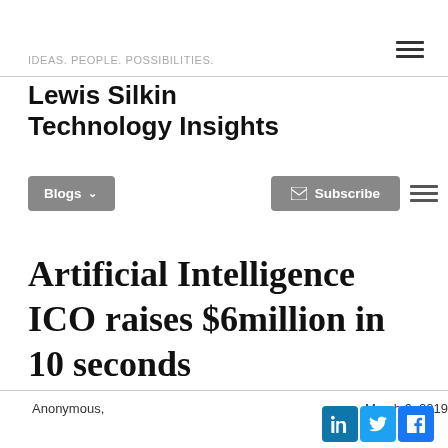IDEAS. PEOPLE. POSSIBILITIES.
Lewis Silkin Technology Insights
Blogs ▾  Subscribe
Artificial Intelligence ICO raises $6million in 10 seconds
Anonymous,    March 6, 2019